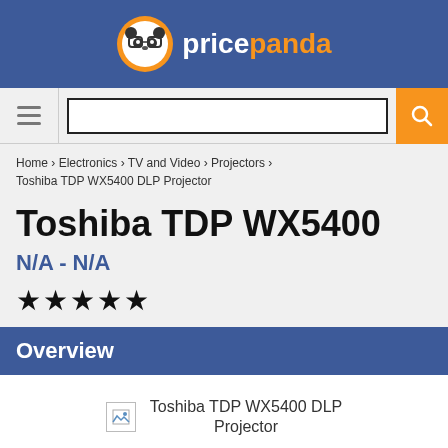pricepanda
Home › Electronics › TV and Video › Projectors › Toshiba TDP WX5400 DLP Projector
Toshiba TDP WX5400
N/A - N/A
★★★★★
Overview
[Figure (photo): Broken image placeholder for Toshiba TDP WX5400 DLP Projector]
Toshiba TDP WX5400 DLP Projector